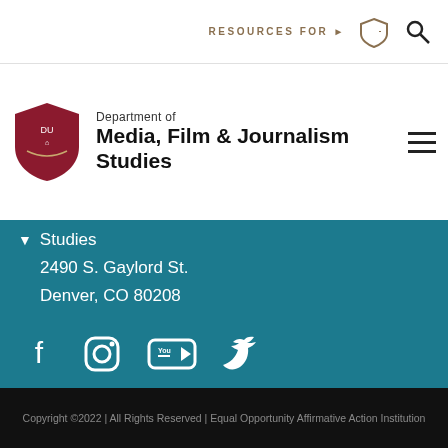RESOURCES FOR ▶
Department of Media, Film & Journalism Studies
Studies
2490 S. Gaylord St.
Denver, CO 80208
[Figure (other): Social media icons: Facebook, Instagram, YouTube, Twitter]
Maps   Jobs   Privacy Policy   Cookies
Copyright ©2022 | All Rights Reserved | Equal Opportunity Affirmative Action Institution